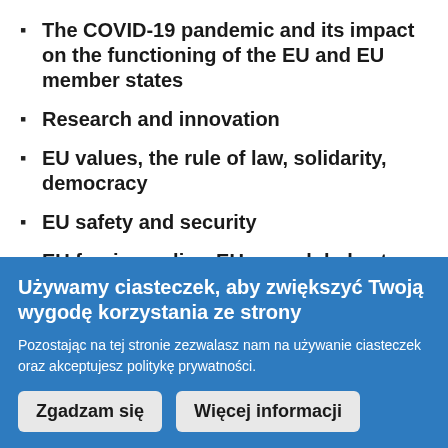The COVID-19 pandemic and its impact on the functioning of the EU and EU member states
Research and innovation
EU values, the rule of law, solidarity, democracy
EU safety and security
EU foreign policy, EU as a global actor
European integration process under new conditions
Używamy ciasteczek, aby zwiększyć Twoją wygodę korzystania ze strony
Pozostając na tej stronie zezwalasz nam na używanie ciasteczek oraz akceptujesz politykę prywatności.
Zgadzam się | Więcej informacji